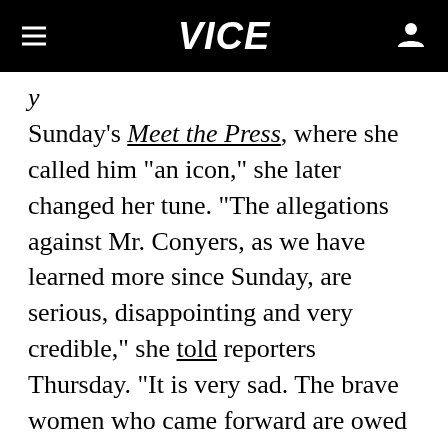VICE
Sunday's Meet the Press, where she called him "an icon," she later changed her tune. "The allegations against Mr. Conyers, as we have learned more since Sunday, are serious, disappointing and very credible," she told reporters Thursday. "It is very sad. The brave women who came forward are owed justice... Congressman Conyers should resign." In a rare bipartisan moment, Speaker of the House Paul Ryan agreed the congressman should step down.
Update 12/6: Conyers announced that he is